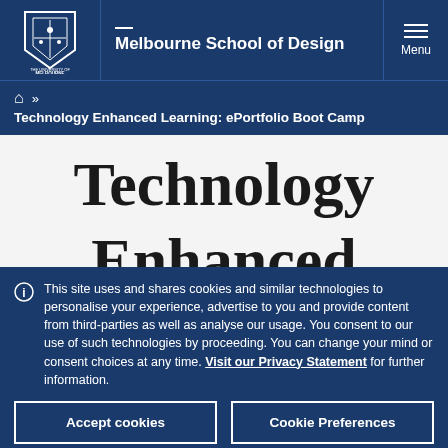Melbourne School of Design
Technology Enhanced Learning: ePortfolio Boot Camp
Technology
This site uses and shares cookies and similar technologies to personalise your experience, advertise to you and provide content from third-parties as well as analyse our usage. You consent to our use of such technologies by proceeding. You can change your mind or consent choices at any time. Visit our Privacy Statement for further information.
Accept cookies
Cookie Preferences